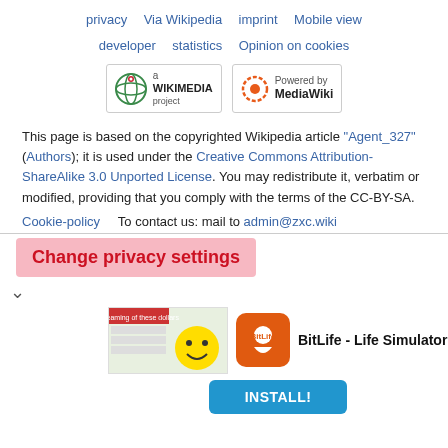privacy   Via Wikipedia   imprint   Mobile view
developer   statistics   Opinion on cookies
[Figure (logo): Wikimedia project logo and Powered by MediaWiki logo]
This page is based on the copyrighted Wikipedia article "Agent_327" (Authors); it is used under the Creative Commons Attribution-ShareAlike 3.0 Unported License. You may redistribute it, verbatim or modified, providing that you comply with the terms of the CC-BY-SA.
Cookie-policy   To contact us: mail to admin@zxc.wiki
Change privacy settings
[Figure (screenshot): Ad banner for BitLife - Life Simulator with install button]